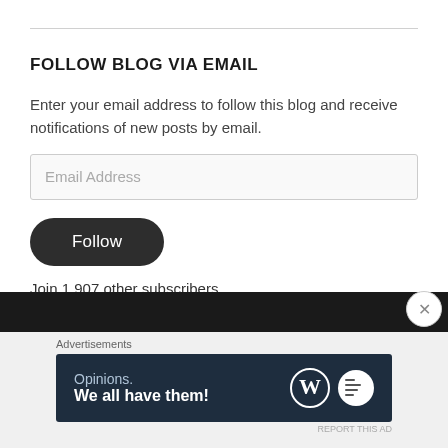FOLLOW BLOG VIA EMAIL
Enter your email address to follow this blog and receive notifications of new posts by email.
Join 1,907 other subscribers
Advertisements
[Figure (screenshot): Advertisement banner reading 'Opinions. We all have them!' with WordPress logo and a round icon on dark navy background.]